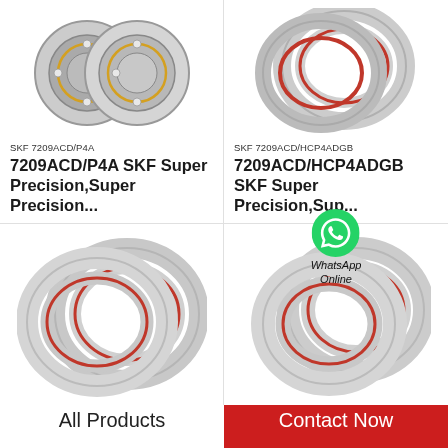[Figure (photo): SKF 7209ACD/P4A angular contact ball bearing, two units shown side by side, metallic silver finish with angular contact cage visible]
SKF 7209ACD/P4A
7209ACD/P4A SKF Super Precision,Super Precision...
[Figure (photo): SKF 7209ACD/HCP4ADGB angular contact ball bearing, two rings shown, chrome finish with brownish-red inner race seal]
SKF 7209ACD/HCP4ADGB
7209ACD/HCP4ADGB SKF Super Precision,Sup...
[Figure (photo): SKF angular contact ball bearing pair, large thin section rings, chrome with reddish-brown inner race, two rings overlapping]
[Figure (photo): SKF angular contact ball bearing pair, two rings overlapping, chrome metallic finish with brownish-red inner race seal, larger profile]
[Figure (photo): WhatsApp Online icon overlay - green WhatsApp logo with text WhatsApp Online]
All Products
Contact Now